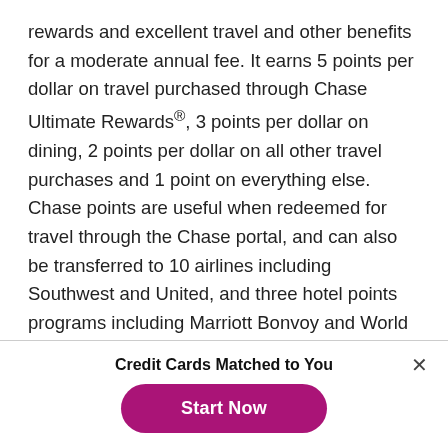rewards and excellent travel and other benefits for a moderate annual fee. It earns 5 points per dollar on travel purchased through Chase Ultimate Rewards®, 3 points per dollar on dining, 2 points per dollar on all other travel purchases and 1 point on everything else. Chase points are useful when redeemed for travel through the Chase portal, and can also be transferred to 10 airlines including Southwest and United, and three hotel points programs including Marriott Bonvoy and World of Hyatt. The card offers some great travel protections including primary auto rental insurance and trip interruption and cancellation coverage.
Credit Cards Matched to You
Start Now